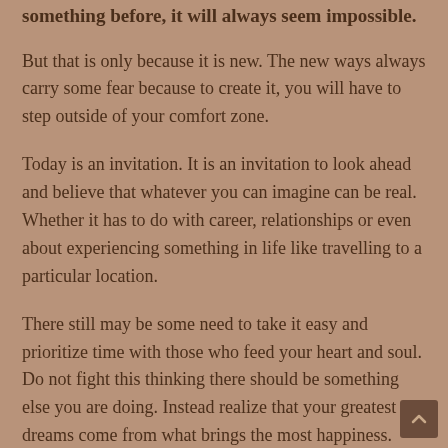something before, it will always seem impossible.
But that is only because it is new. The new ways always carry some fear because to create it, you will have to step outside of your comfort zone.
Today is an invitation. It is an invitation to look ahead and believe that whatever you can imagine can be real. Whether it has to do with career, relationships or even about experiencing something in life like travelling to a particular location.
There still may be some need to take it easy and prioritize time with those who feed your heart and soul. Do not fight this thinking there should be something else you are doing. Instead realize that your greatest dreams come from what brings the most happiness.
2. Taurus